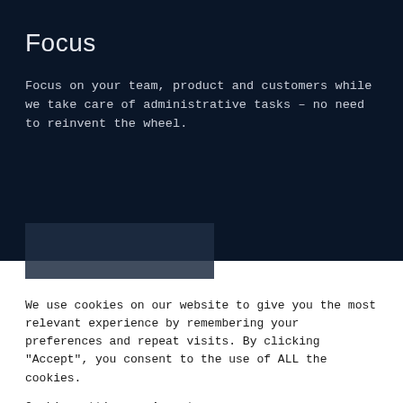Focus
Focus on your team, product and customers while we take care of administrative tasks – no need to reinvent the wheel.
[Figure (other): Dark blue image strip partially visible at bottom of dark section]
We use cookies on our website to give you the most relevant experience by remembering your preferences and repeat visits. By clicking "Accept", you consent to the use of ALL the cookies.
Cookie settings   Accept